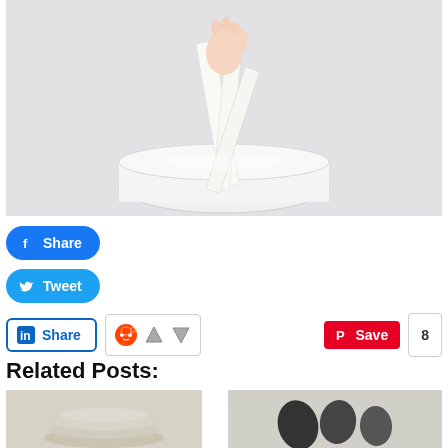[Figure (photo): A hand pulling white flat spatula-like utensils out of a white round bowl/container, on a light grey background.]
[Figure (screenshot): Social sharing buttons: Facebook Share (blue rounded), Twitter Tweet (blue rounded), LinkedIn Share (outlined), Reddit upvote widget, Pinterest Save (red) with count badge showing 8.]
Related Posts:
[Figure (photo): Thumbnail of stacked beige/cream bowls on a light background.]
[Figure (photo): Thumbnail of black decorative items on a white background.]